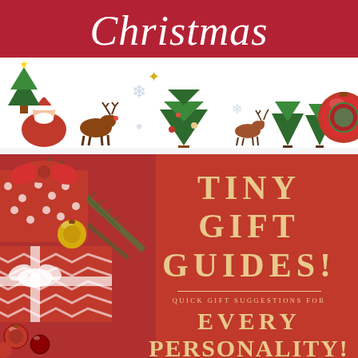Christmas
[Figure (illustration): Decorative Christmas banner with holiday icons: Santa, reindeer, Christmas trees, snowflakes, ornaments in red, green, and gold colors on white background]
[Figure (photo): Red background with wrapped Christmas gifts with red and white chevron wrapping paper and white ribbon bow, pine branches, red and gold ornament balls on the left side]
TINY GIFT GUIDES!
QUICK GIFT SUGGESTIONS FOR
EVERY
PERSONALITY!